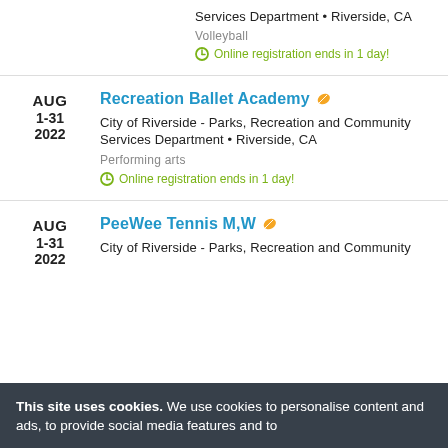Services Department • Riverside, CA
Volleyball
Online registration ends in 1 day!
Recreation Ballet Academy
AUG 1-31 2022
City of Riverside - Parks, Recreation and Community Services Department • Riverside, CA
Performing arts
Online registration ends in 1 day!
PeeWee Tennis M,W
AUG 1-31 2022
City of Riverside - Parks, Recreation and Community
This site uses cookies. We use cookies to personalise content and ads, to provide social media features and to